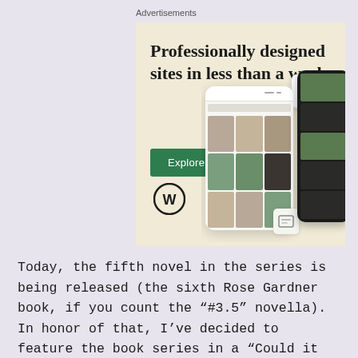Advertisements
[Figure (illustration): WordPress advertisement banner with cream/beige background showing 'Professionally designed sites in less than a week' headline, a green 'Explore options' button, WordPress logo, and phone mockup screenshots of website templates]
Today, the fifth novel in the series is being released (the sixth Rose Gardner book, if you count the “#3.5” novella). In honor of that, I’ve decided to feature the book series in a “Could it be a movie?” post and share my dream cast with you!